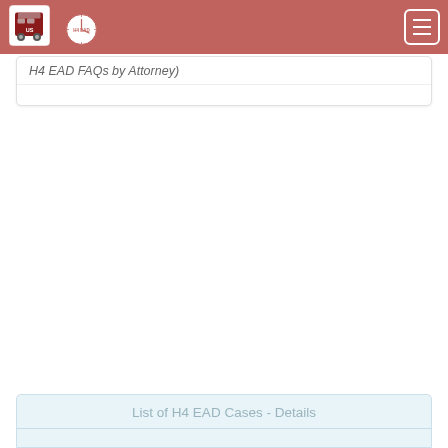H4 EAD FAQs by Attorney
List of H4 EAD Cases - Details